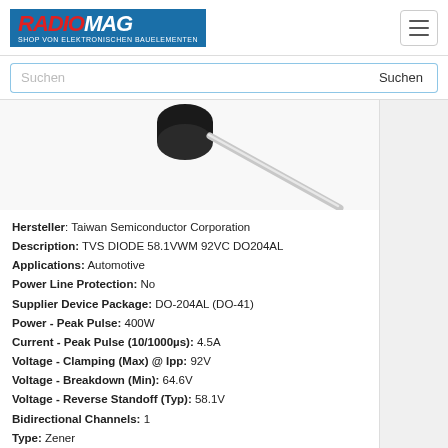RADIOMAG - SHOP VON ELEKTRONISCHEN BAUELEMENTEN
[Figure (photo): TVS diode component photo showing a black cylindrical body with a grey lead wire extending diagonally downward to the right against a white background]
Hersteller: Taiwan Semiconductor Corporation
Description: TVS DIODE 58.1VWM 92VC DO204AL
Applications: Automotive
Power Line Protection: No
Supplier Device Package: DO-204AL (DO-41)
Power - Peak Pulse: 400W
Current - Peak Pulse (10/1000µs): 4.5A
Voltage - Clamping (Max) @ Ipp: 92V
Voltage - Breakdown (Min): 64.6V
Voltage - Reverse Standoff (Typ): 58.1V
Bidirectional Channels: 1
Type: Zener
Part Status: Active
Packaging: Tape & Reel (TR)
Package / Case: DO-204AL, DO-41, Axial
Mounting Type: Through Hole